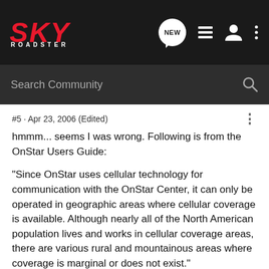SKY ROADSTER — navigation bar with logo, NEW bubble, list icon, user icon, dots icon
Search Community
#5 · Apr 23, 2006 (Edited)
hmmm... seems I was wrong. Following is from the OnStar Users Guide:
"Since OnStar uses cellular technology for communication with the OnStar Center, it can only be operated in geographic areas where cellular coverage is available. Although nearly all of the North American population lives and works in cellular coverage areas, there are various rural and mountainous areas where coverage is marginal or does not exist."
manual available here:
http://www.onstar.com/us_english/downloadable/Gen5_English.pdf